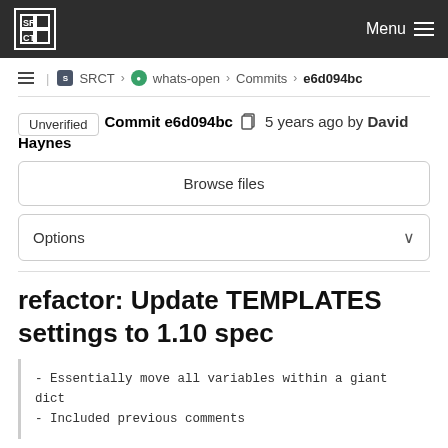SRCT  Menu
SRCT > whats-open > Commits > e6d094bc
Unverified  Commit e6d094bc  5 years ago by David Haynes
Browse files
Options
refactor: Update TEMPLATES settings to 1.10 spec
- Essentially move all variables within a giant dict
- Included previous comments